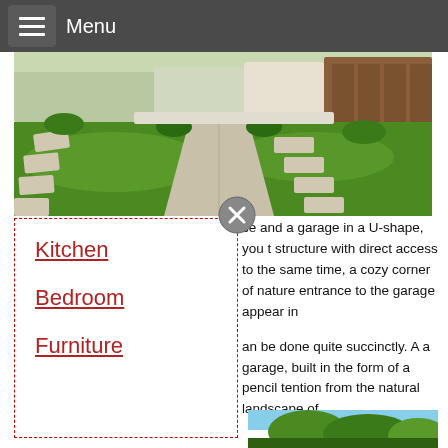Menu
[Figure (photo): Aerial/front view of a modern home with lush green lawn, stepping stones, concrete pathway, and wooden garage door]
[Figure (other): Close/X button circle icon in grey]
Kitchen
Bedroom
Furniture
se and a garage in a U-shape, you t structure with direct access to the same time, a cozy corner of nature entrance to the garage appear in
an be done quite succinctly. A a garage, built in the form of a pencil tention from the natural landscape of
[Figure (photo): Partial view of trees and blue sky at bottom of page]